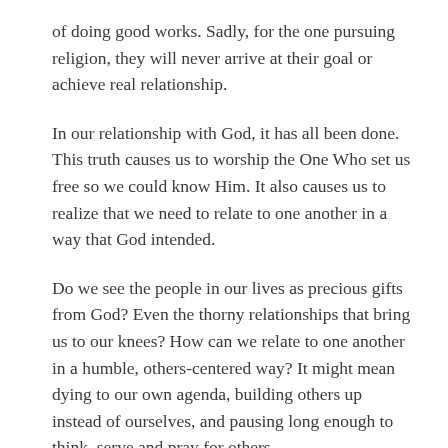of doing good works. Sadly, for the one pursuing religion, they will never arrive at their goal or achieve real relationship.
In our relationship with God, it has all been done. This truth causes us to worship the One Who set us free so we could know Him. It also causes us to realize that we need to relate to one another in a way that God intended.
Do we see the people in our lives as precious gifts from God? Even the thorny relationships that bring us to our knees? How can we relate to one another in a humble, others-centered way? It might mean dying to our own agenda, building others up instead of ourselves, and pausing long enough to think, serve and pray for others.